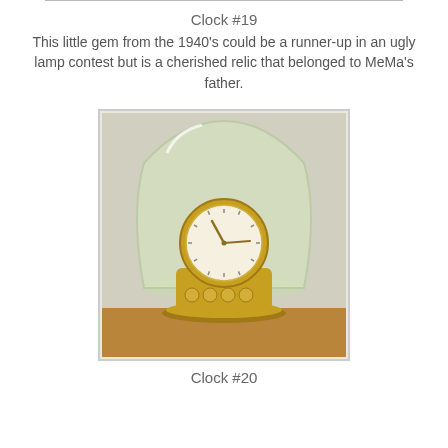Clock #19
This little gem from the 1940's could be a runner-up in an ugly lamp contest but is a cherished relic that belonged to MeMa's father.
[Figure (photo): A vintage 1940s anniversary clock with a round white dial and gold case, enclosed under a glass dome, sitting on a wooden surface.]
Clock #20